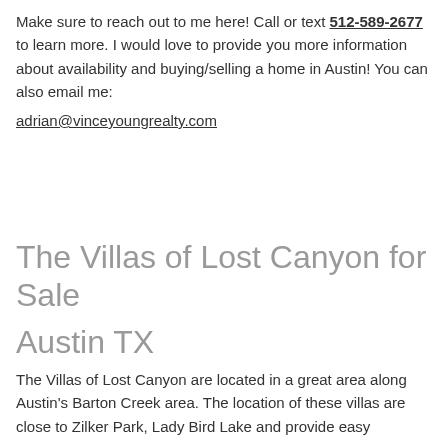Make sure to reach out to me here! Call or text 512-589-2677 to learn more. I would love to provide you more information about availability and buying/selling a home in Austin! You can also email me: adrian@vinceyoungrealty.com
The Villas of Lost Canyon for Sale Austin TX
The Villas of Lost Canyon are located in a great area along Austin's Barton Creek area. The location of these villas are close to Zilker Park, Lady Bird Lake and provide easy